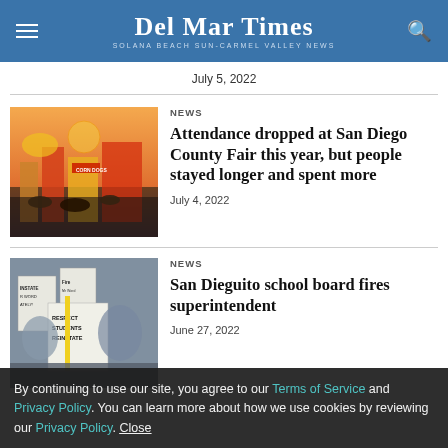Del Mar Times — Solana Beach Sun-Carmel Valley News
July 5, 2022
NEWS
Attendance dropped at San Diego County Fair this year, but people stayed longer and spent more
July 4, 2022
[Figure (photo): Fairground scene at dusk with carnival rides and food stands including corn dogs sign]
NEWS
San Dieguito school board fires superintendent
June 27, 2022
[Figure (photo): Protesters holding signs reading REINSTATE, Fire, RESPECT STUDENTS REINSTATE]
By continuing to use our site, you agree to our Terms of Service and Privacy Policy. You can learn more about how we use cookies by reviewing our Privacy Policy. Close